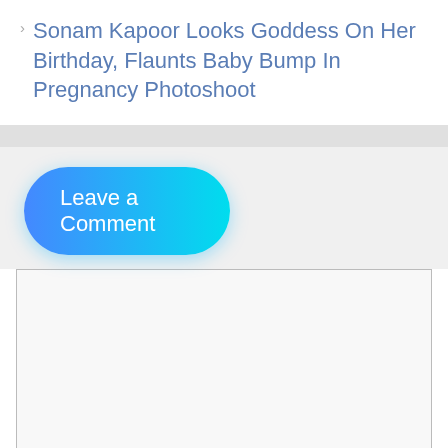Sonam Kapoor Looks Goddess On Her Birthday, Flaunts Baby Bump In Pregnancy Photoshoot
Leave a Comment
[Figure (screenshot): Empty comment textarea input box with light gray background and border]